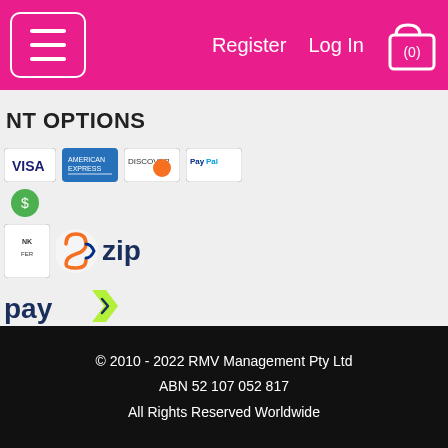Register  Log In  (0)
NT OPTIONS
[Figure (logo): Payment method logos: Visa, American Express, Discover, PayPal, Cash, Bank Transfer, Zip, AfterPay]
© 2010 - 2022 RMV Management Pty Ltd
ABN 52 107 052 817
All Rights Reserved Worldwide